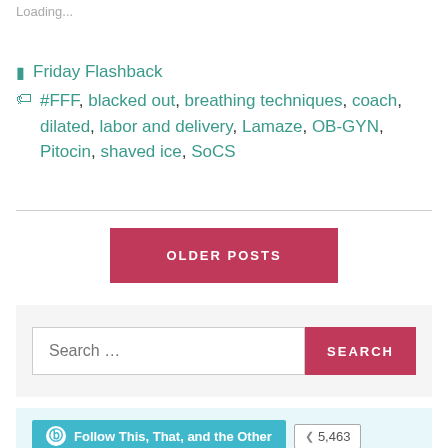Loading...
Friday Flashback
#FFF, blacked out, breathing techniques, coach, dilated, labor and delivery, Lamaze, OB-GYN, Pitocin, shaved ice, SoCS
OLDER POSTS
Search ...
Follow This, That, and the Other  5,463